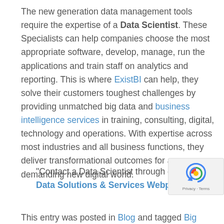The new generation data management tools require the expertise of a Data Scientist. These Specialists can help companies choose the most appropriate software, develop, manage, run the applications and train staff on analytics and reporting. This is where ExistBI can help, they solve their customers toughest challenges by providing unmatched big data and business intelligence services in training, consulting, digital, technology and operations. With expertise across most industries and all business functions, they deliver transformational outcomes for a demanding new digital world.
"Contact a Data Scientist through our Big Data Solutions & Services Webpage."
This entry was posted in Blog and tagged Big Data